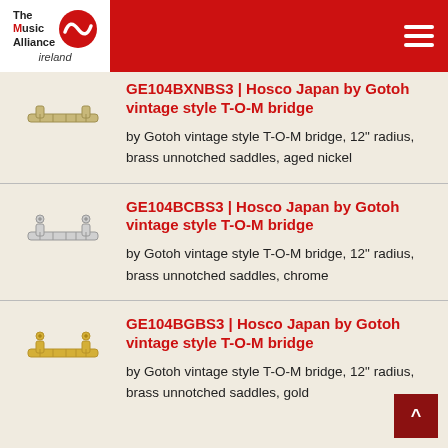The Music Alliance ireland
GE104BXNBS3 | Hosco Japan by Gotoh vintage style T-O-M bridge
by Gotoh vintage style T-O-M bridge, 12" radius, brass unnotched saddles, aged nickel
GE104BCBS3 | Hosco Japan by Gotoh vintage style T-O-M bridge
by Gotoh vintage style T-O-M bridge, 12" radius, brass unnotched saddles, chrome
GE104BGBS3 | Hosco Japan by Gotoh vintage style T-O-M bridge
by Gotoh vintage style T-O-M bridge, 12" radius, brass unnotched saddles, gold